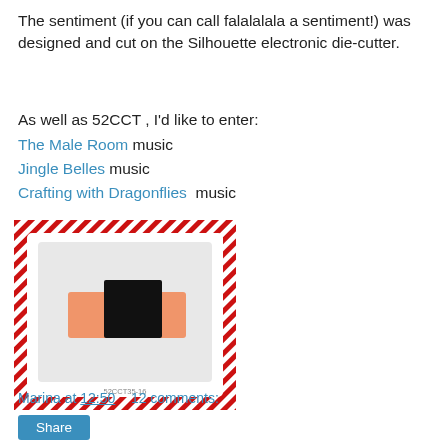The sentiment (if you can call falalalala a sentiment!) was designed and cut on the Silhouette electronic die-cutter.
As well as 52CCT , I'd like to enter:
The Male Room music
Jingle Belles music
Crafting with Dragonflies  music
[Figure (photo): A crafting card image inside a red and white candy-cane striped border frame, showing a light gray card with an orange rectangular shape and a black square overlapping it, labeled 52CCT35-16 at the bottom.]
Marina at 12:50   12 comments:
Share